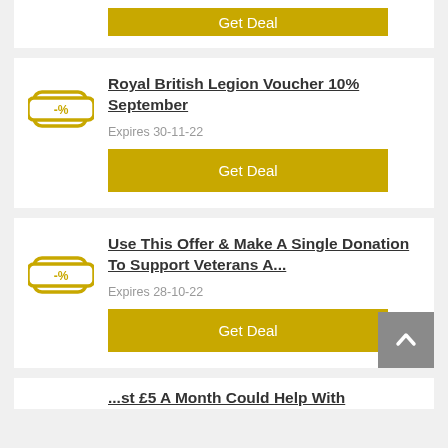[Figure (other): Truncated top card with yellow Get Deal button visible at top]
Royal British Legion Voucher 10% September
Expires 30-11-22
Get Deal
Use This Offer & Make A Single Donation To Support Veterans A...
Expires 28-10-22
Get Deal
...st £5 A Month Could Help With